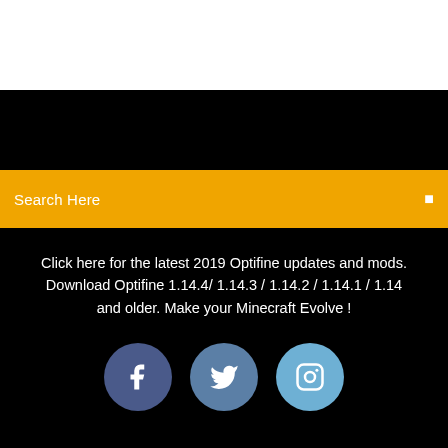[Figure (screenshot): White top banner area]
[Figure (screenshot): Black navigation band]
Search Here
Click here for the latest 2019 Optifine updates and mods. Download Optifine 1.14.4/ 1.14.3 / 1.14.2 / 1.14.1 / 1.14 and older. Make your Minecraft Evolve !
[Figure (infographic): Three social media icon circles: Facebook (dark blue), Twitter (medium blue), Instagram (light blue)]